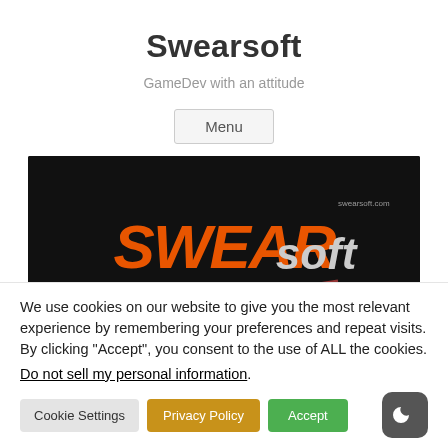Swearsoft
GameDev with an attitude
Menu
[Figure (logo): Swearsoft logo on dark background with orange and red stylized text]
We use cookies on our website to give you the most relevant experience by remembering your preferences and repeat visits. By clicking “Accept”, you consent to the use of ALL the cookies.
Do not sell my personal information.
Cookie Settings  Privacy Policy  Accept